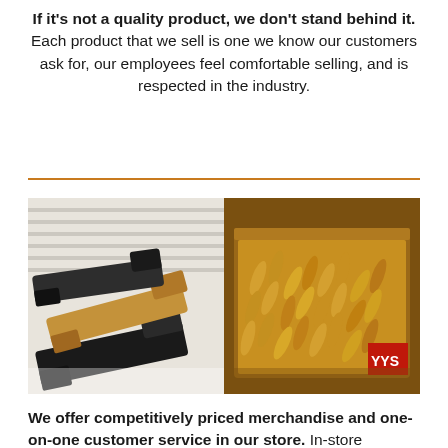If it's not a quality product, we don't stand behind it. Each product that we sell is one we know our customers ask for, our employees feel comfortable selling, and is respected in the industry.
[Figure (photo): Two side-by-side photos: left shows multiple handguns/pistols displayed on a surface, right shows a wooden box filled with brass bullet casings/ammunition]
We offer competitively priced merchandise and one-on-one customer service in our store. In-store services include sight installation / adjustments and